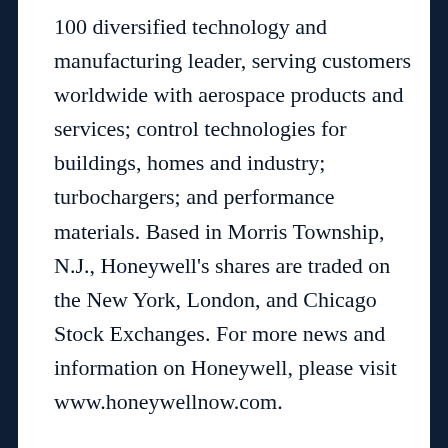100 diversified technology and manufacturing leader, serving customers worldwide with aerospace products and services; control technologies for buildings, homes and industry; turbochargers; and performance materials. Based in Morris Township, N.J., Honeywell's shares are traded on the New York, London, and Chicago Stock Exchanges. For more news and information on Honeywell, please visit www.honeywellnow.com.
This release contains certain statements that may be deemed “forward-looking statements” within the meaning of Section 21E of the